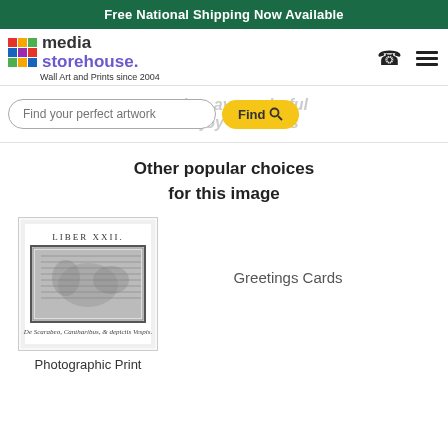Free National Shipping Now Available
[Figure (logo): Media Storehouse logo with colorful squares and text, subtitle: Wall Art and Prints since 2004]
Find your perfect artwork
Find
Other popular choices for this image
[Figure (photo): Antique engraving illustration: LIBER XXII with decorative border and text De Scarabeo, Cantharibus, & depictis Vespis]
Photographic Print
Greetings Cards